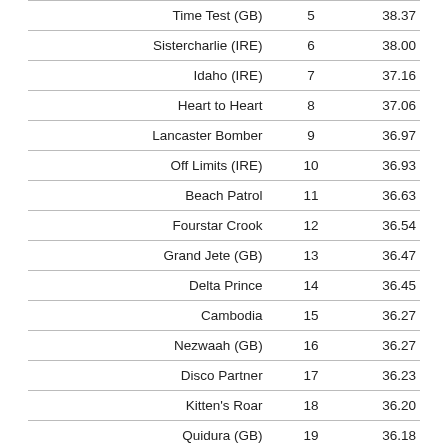| Name | Rank | Score |
| --- | --- | --- |
| Time Test (GB) | 5 | 38.37 |
| Sistercharlie (IRE) | 6 | 38.00 |
| Idaho (IRE) | 7 | 37.16 |
| Heart to Heart | 8 | 37.06 |
| Lancaster Bomber | 9 | 36.97 |
| Off Limits (IRE) | 10 | 36.93 |
| Beach Patrol | 11 | 36.63 |
| Fourstar Crook | 12 | 36.54 |
| Grand Jete (GB) | 13 | 36.47 |
| Delta Prince | 14 | 36.45 |
| Cambodia | 15 | 36.27 |
| Nezwaah (GB) | 16 | 36.27 |
| Disco Partner | 17 | 36.23 |
| Kitten's Roar | 18 | 36.20 |
| Quidura (GB) | 19 | 36.18 |